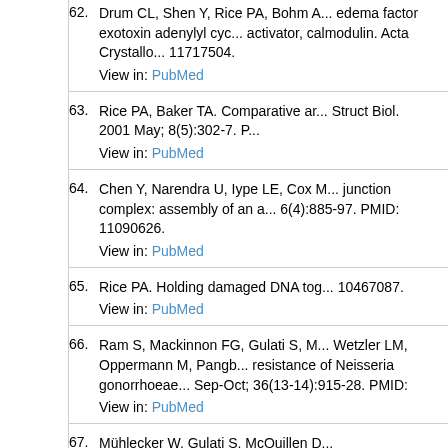62. Drum CL, Shen Y, Rice PA, Bohm A... edema factor exotoxin adenylyl cyclase activator, calmodulin. Acta Crystallo... 11717504. View in: PubMed
63. Rice PA, Baker TA. Comparative ar... Struct Biol. 2001 May; 8(5):302-7. P... View in: PubMed
64. Chen Y, Narendra U, Iype LE, Cox M... junction complex: assembly of an a... 6(4):885-97. PMID: 11090626. View in: PubMed
65. Rice PA. Holding damaged DNA tog... 10467087. View in: PubMed
66. Ram S, Mackinnon FG, Gulati S, M... Wetzler LM, Oppermann M, Pangb... resistance of Neisseria gonorrhoeae... Sep-Oct; 36(13-14):915-28. PMID:... View in: PubMed
67. Mühlecker W, Gulati S, McQuillen D...